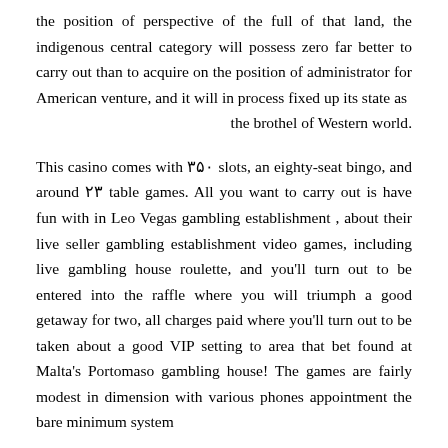the position of perspective of the full of that land, the indigenous central category will possess zero far better to carry out than to acquire on the position of administrator for American venture, and it will in process fixed up its state as .the brothel of Western world
This casino comes with ۳۵۰ slots, an eighty-seat bingo, and around ۲۳ table games. All you want to carry out is have fun with in Leo Vegas gambling establishment , about their live seller gambling establishment video games, including live gambling house roulette, and you'll turn out to be entered into the raffle where you will triumph a good getaway for two, all charges paid where you'll turn out to be taken about a good VIP setting to area that bet found at Malta's Portomaso gambling house! The games are fairly modest in dimension with various phones appointment the bare minimum system